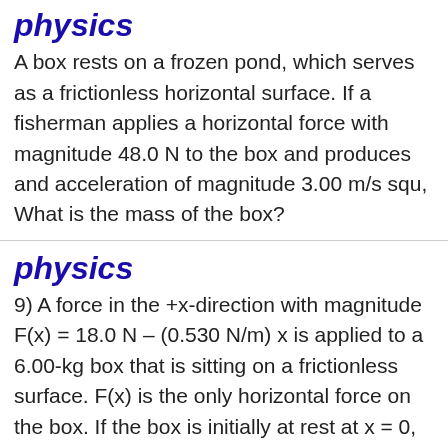physics
A box rests on a frozen pond, which serves as a frictionless horizontal surface. If a fisherman applies a horizontal force with magnitude 48.0 N to the box and produces and acceleration of magnitude 3.00 m/s squ, What is the mass of the box?
physics
9) A force in the +x-direction with magnitude F(x) = 18.0 N – (0.530 N/m) x is applied to a 6.00-kg box that is sitting on a frictionless surface. F(x) is the only horizontal force on the box. If the box is initially at rest at x = 0, what is its speed...